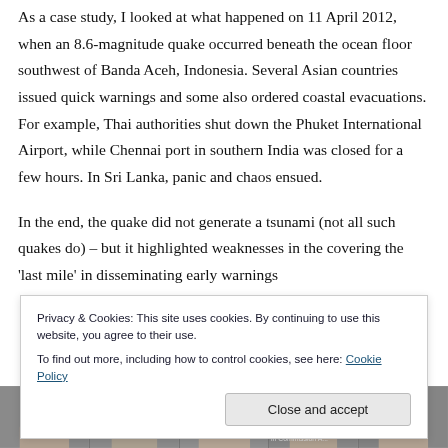As a case study, I looked at what happened on 11 April 2012, when an 8.6-magnitude quake occurred beneath the ocean floor southwest of Banda Aceh, Indonesia. Several Asian countries issued quick warnings and some also ordered coastal evacuations. For example, Thai authorities shut down the Phuket International Airport, while Chennai port in southern India was closed for a few hours. In Sri Lanka, panic and chaos ensued.
In the end, the quake did not generate a tsunami (not all such quakes do) – but it highlighted weaknesses in the covering the 'last mile' in disseminating early warnings
Privacy & Cookies: This site uses cookies. By continuing to use this website, you agree to their use.
To find out more, including how to control cookies, see here: Cookie Policy
[Figure (photo): Bottom strip showing partial photos of several people (faces/upper bodies), appearing to be a panel or group photo, partially obscured]